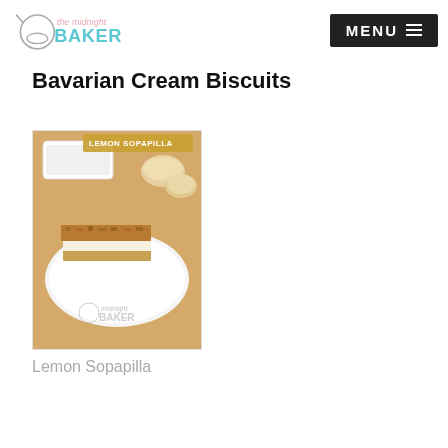The Midnight Baker | MENU
Bavarian Cream Biscuits
[Figure (photo): A layered dessert bar with a crumbly golden-brown top and creamy white filling, served on a white plate. In the background, there is a white baking dish and biscuits. Text overlay reads 'LEMON SOPAPILLA'. The Midnight Baker watermark logo is visible.]
Lemon Sopapilla